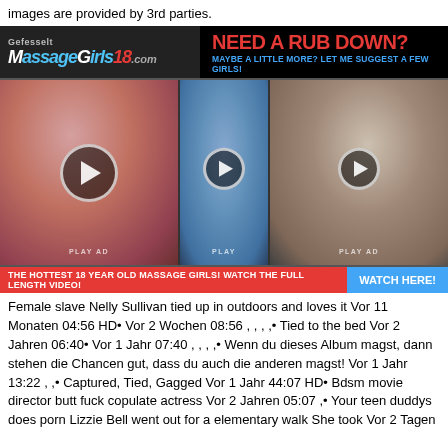images are provided by 3rd parties.
[Figure (photo): Advertisement banner for MassageGirls18.com with tagline 'NEED A RUB DOWN? MAYBE A LITTLE MORE? LET ME SUGGEST A FEW GIRLS!' followed by a strip of video thumbnail images with play buttons and CTA bar reading 'THE HOTTEST 18 YEAR OLD MASSAGE GIRLS! WATCH THE FULL LENGTH VIDEO! WATCH HERE!']
Female slave Nelly Sullivan tied up in outdoors and loves it Vor 11 Monaten 04:56 HD• Vor 2 Wochen 08:56 , , , ,• Tied to the bed Vor 2 Jahren 06:40• Vor 1 Jahr 07:40 , , , ,• Wenn du dieses Album magst, dann stehen die Chancen gut, dass du auch die anderen magst! Vor 1 Jahr 13:22 , ,• Captured, Tied, Gagged Vor 1 Jahr 44:07 HD• Bdsm movie director butt fuck copulate actress Vor 2 Jahren 05:07 ,• Your teen duddys does porn Lizzie Bell went out for a elementary walk She took Vor 2 Tagen